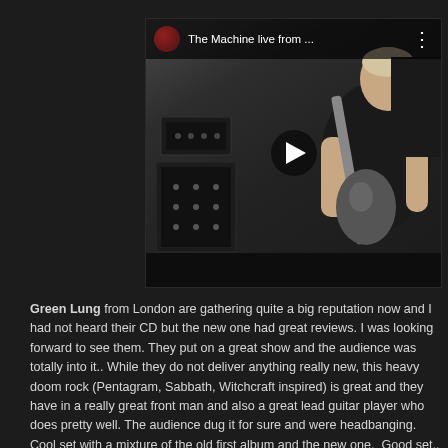[Figure (screenshot): YouTube video embed showing a guitarist playing on stage with amplifiers in the background. Video title bar reads 'The Machine live from ...' with a menu dots icon. A play button is visible in the center of the video.]
Green Lung from London are gathering quite a big reputation now and I had not heard their CD but the new one had great reviews. I was looking forward to see them. They put on a great show and the audience was totally into it.. While they do not deliver anything really new, this heavy doom rock (Pentagram, Sabbath, Witchcraft inspired) is great and they have in a really great front man and also a great lead guitar player who does pretty well. The audience dug it for sure and were headbanging. Cool set with a mixture of the old first album and the new one.  Good set..